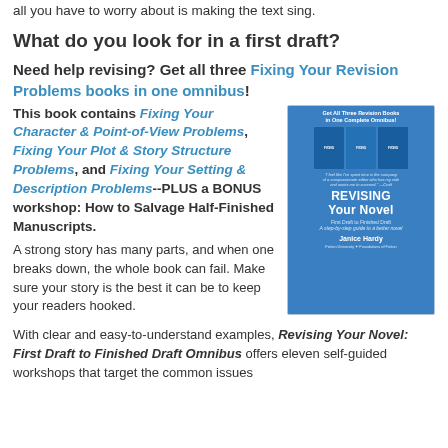all you have to worry about is making the text sing.
What do you look for in a first draft?
Need help revising? Get all three Fixing Your Revision Problems books in one omnibus!
This book contains Fixing Your Character & Point-of-View Problems, Fixing Your Plot & Story Structure Problems, and Fixing Your Setting & Description Problems--PLUS a BONUS workshop: How to Salvage Half-Finished Manuscripts.
[Figure (illustration): Book cover for 'Revising Your Novel: First Draft to Finished Draft' omnibus by Janice Hardy, showing three blue revision books and the main title on a blue background.]
A strong story has many parts, and when one breaks down, the whole book can fail. Make sure your story is the best it can be to keep your readers hooked.
With clear and easy-to-understand examples, Revising Your Novel: First Draft to Finished Draft Omnibus offers eleven self-guided workshops that target the common issues